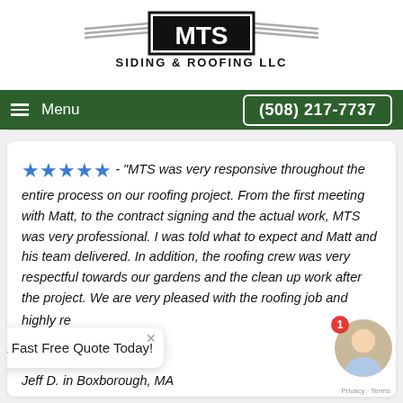[Figure (logo): MTS Siding & Roofing LLC logo with wing/chevron decorations and bold MTS text in a box, with 'SIDING & ROOFING LLC' text below]
Menu   (508) 217-7737
★★★★★ - "MTS was very responsive throughout the entire process on our roofing project. From the first meeting with Matt, to the contract signing and the actual work, MTS was very professional. I was told what to expect and Matt and his team delivered. In addition, the roofing crew was very respectful towards our gardens and the clean up work after the project. We are very pleased with the roofing job and... highly re...
Jeff D. in Boxborough, MA
Get a Fast Free Quote Today!